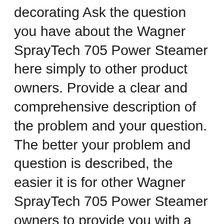decorating Ask the question you have about the Wagner SprayTech 705 Power Steamer here simply to other product owners. Provide a clear and comprehensive description of the problem and your question. The better your problem and question is described, the easier it is for other Wagner SprayTech 705 Power Steamer owners to provide you with a good answer.
Last Modified Dec 28, 2016. Home > Daniel > Daniel's Tools > Tool Manuals > Wagner Manuals . Wagner Manuals The Wagner 715 Power Wallpaper Steamer is a safe, chemical-free product for wallpaper removal. The steamer removes all types of wallpaper, even